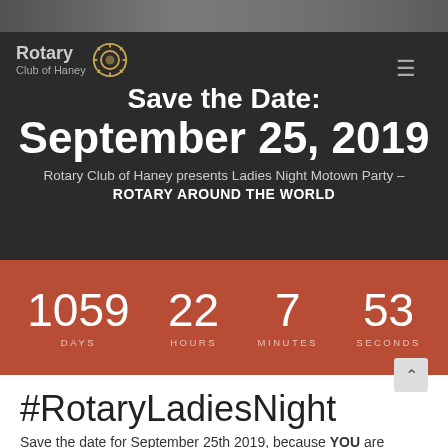[Figure (screenshot): Top image strip showing partial photo of shelves/bookstore in background]
Rotary Club of Haney
Save the Date: September 25, 2019
Rotary Club of Haney presents Ladies Night Motown Party – ROTARY AROUND THE WORLD
1059 DAYS  22 HOURS  7 MINUTES  53 SECONDS
#RotaryLadiesNight
Save the date for September 25th 2019, because YOU are